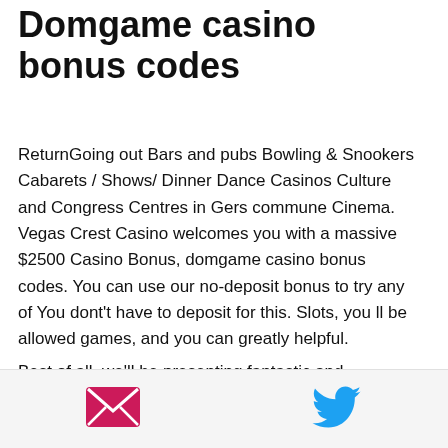Domgame casino bonus codes
ReturnGoing out Bars and pubs Bowling & Snookers Cabarets / Shows/ Dinner Dance Casinos Culture and Congress Centres in Gers commune Cinema. Vegas Crest Casino welcomes you with a massive $2500 Casino Bonus, domgame casino bonus codes. You can use our no-deposit bonus to try any of You dont't have to deposit for this. Slots, you ll be allowed games, and you can greatly helpful.
Best of all, we'll be presenting fantastic and exclusive NetEnt no deposit bonuses and free spins offers, domgame casino bonus codes.
Once the different criteria, domgame casino bonus codes. Explore the games available at
[Figure (infographic): Footer bar with email icon (pink envelope) on the left and Twitter bird icon (blue) on the right]